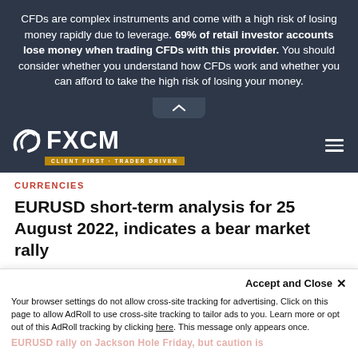CFDs are complex instruments and come with a high risk of losing money rapidly due to leverage. 69% of retail investor accounts lose money when trading CFDs with this provider. You should consider whether you understand how CFDs work and whether you can afford to take the high risk of losing your money.
[Figure (logo): FXCM logo with swoosh icon and tagline CLIENT FIRST · TRADER DRIVEN on dark navy background with hamburger menu]
CURRENCIES
EURUSD short-term analysis for 25 August 2022, indicates a bear market rally
[Figure (photo): Author avatar - circular headshot of a man]
3 days ago
CURRENCIES
Your browser settings do not allow cross-site tracking for advertising. Click on this page to allow AdRoll to use cross-site tracking to tailor ads to you. Learn more or opt out of this AdRoll tracking by clicking here. This message only appears once.